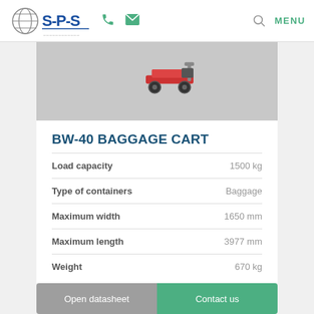S-P-S | phone | email | search | MENU
[Figure (photo): Partial view of a BW-40 baggage cart on a grey background]
BW-40 BAGGAGE CART
| Specification | Value |
| --- | --- |
| Load capacity | 1500 kg |
| Type of containers | Baggage |
| Maximum width | 1650 mm |
| Maximum length | 3977 mm |
| Weight | 670 kg |
Open datasheet
Contact us